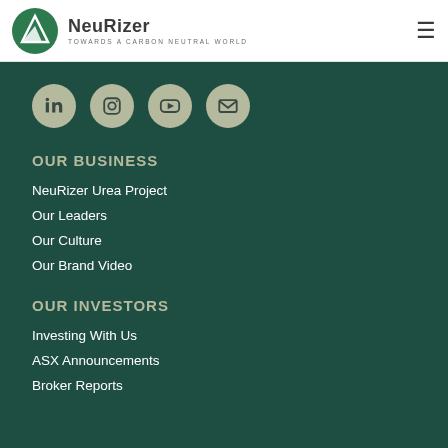[Figure (logo): NeuRizer logo: green circle with white triangle/arrow shape, company name NeuRizer in bold dark text, tagline TOWARDS A CARBON NEUTRAL WORLD in small caps]
[Figure (infographic): Four social media icon buttons in beige/khaki circles: LinkedIn, Instagram, YouTube, Email]
OUR BUSINESS
NeuRizer Urea Project
Our Leaders
Our Culture
Our Brand Video
OUR INVESTORS
Investing With Us
ASX Announcements
Broker Reports